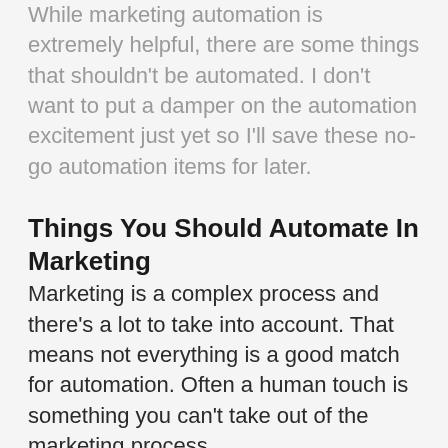While marketing automation is extremely helpful, there are some things that shouldn't be automated. I don't want to put a damper on the automation excitement just yet so I'll save these no-go automation items for later.
Things You Should Automate In Marketing
Marketing is a complex process and there's a lot to take into account. That means not everything is a good match for automation. Often a human touch is something you can't take out of the marketing process.
For the parts of marketing that don't require a human touch or the human touch can be